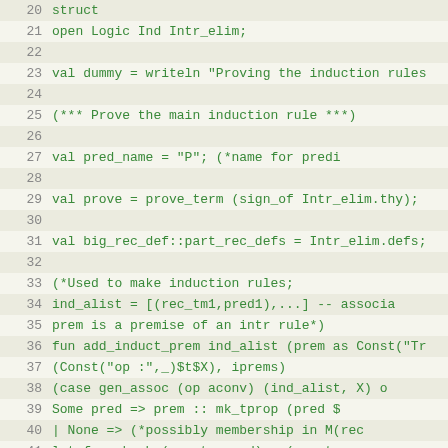Code listing lines 20-42, ML/SML source code
20  struct
21  open Logic Ind Intr_elim;
22  (empty)
23  val dummy = writeln "Proving the induction rules
24  (empty)
25  (*** Prove the main induction rule ***)
26  (empty)
27  val pred_name = "P";         (*name for predi
28  (empty)
29  val prove = prove_term (sign_of Intr_elim.thy);
30  (empty)
31  val big_rec_def::part_rec_defs = Intr_elim.defs;
32  (empty)
33  (*Used to make induction rules;
34      ind_alist = [(rec_tm1,pred1),...]  -- associa
35      prem is a premise of an intr rule*)
36  fun add_induct_prem ind_alist (prem as Const("Tr
37                          (Const("op :",_)$t$X), iprems)
38          (case gen_assoc (op aconv) (ind_alist, X) o
39            Some pred => prem :: mk_tprop (pred $
40           | None => (*possibly membership in M(rec
41              let fun mk_sb (rec_tm,pred) = (rec_t
42                  in  subst_free (map mk_sb ind_alist